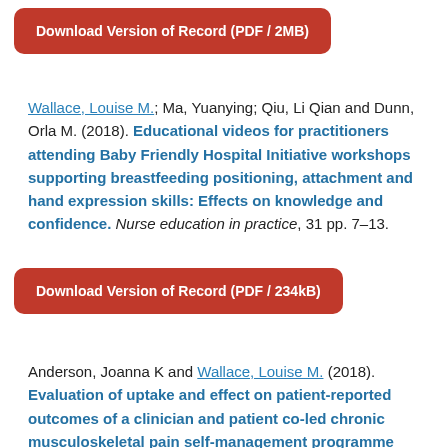Download Version of Record (PDF / 2MB)
Wallace, Louise M.; Ma, Yuanying; Qiu, Li Qian and Dunn, Orla M. (2018). Educational videos for practitioners attending Baby Friendly Hospital Initiative workshops supporting breastfeeding positioning, attachment and hand expression skills: Effects on knowledge and confidence. Nurse education in practice, 31 pp. 7–13.
Download Version of Record (PDF / 234kB)
Anderson, Joanna K and Wallace, Louise M. (2018). Evaluation of uptake and effect on patient-reported outcomes of a clinician and patient co-led chronic musculoskeletal pain self-management programme provided by the UK National Health